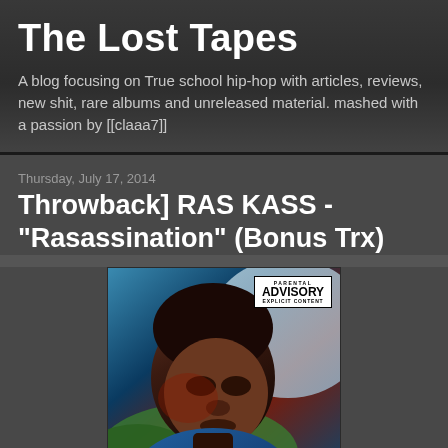The Lost Tapes
A blog focusing on True school hip-hop with articles, reviews, new shit, rare albums and unreleased material. mashed with a passion by [[claaa7]]
Thursday, July 17, 2014
Throwback] RAS KASS - "Rasassination" (Bonus Trx)
[Figure (photo): Album cover for Ras Kass Rasassination showing a close-up of a man's face with a Parental Advisory Explicit Content label in the top right corner]